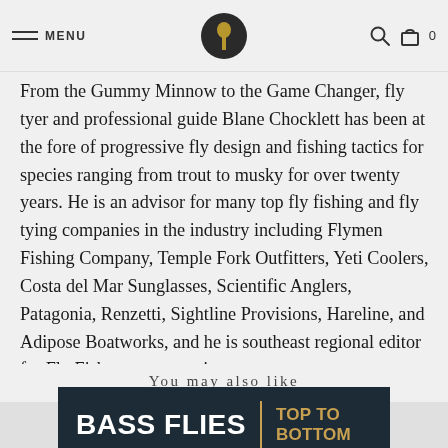MENU  [logo]  [search] [bag] 0
From the Gummy Minnow to the Game Changer, fly tyer and professional guide Blane Chocklett has been at the fore of progressive fly design and fishing tactics for species ranging from trout to musky for over twenty years. He is an advisor for many top fly fishing and fly tying companies in the industry including Flymen Fishing Company, Temple Fork Outfitters, Yeti Coolers, Costa del Mar Sunglasses, Scientific Anglers, Patagonia, Renzetti, Sightline Provisions, Hareline, and Adipose Boatworks, and he is southeast regional editor for Fly Fisherman magazine.
You may also like
[Figure (photo): Book cover banner with dark navy background. Bold white text reads 'BASS FLIES' on the left, a gold vertical divider, and gold text on the right reads 'TOP TO BOTTOM'.]